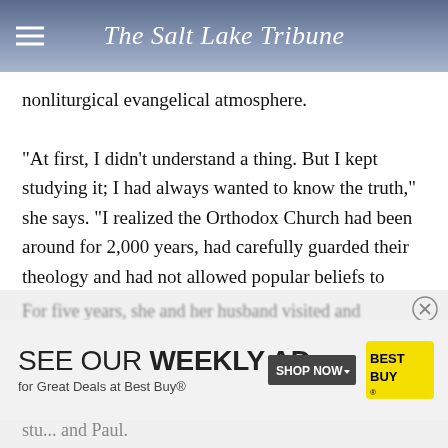The Salt Lake Tribune
nonliturgical evangelical atmosphere.
"At first, I didn't understand a thing. But I kept studying it; I had always wanted to know the truth," she says. "I realized the Orthodox Church had been around for 2,000 years, had carefully guarded their theology and had not allowed popular beliefs to change them."
[Figure (screenshot): Best Buy weekly ad banner: SEE OUR WEEKLY AD for Great Deals at Best Buy® with SHOP NOW button and Best Buy logo]
For five years, she and her husband visited and stu... and Paul.